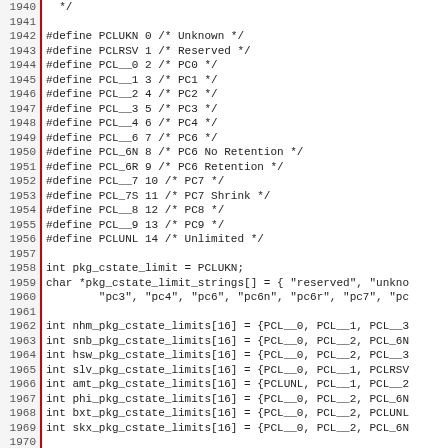Source code listing lines 1940-1971 showing C preprocessor defines for PCL (Package C-state Limit) constants and array declarations for various CPU platforms.